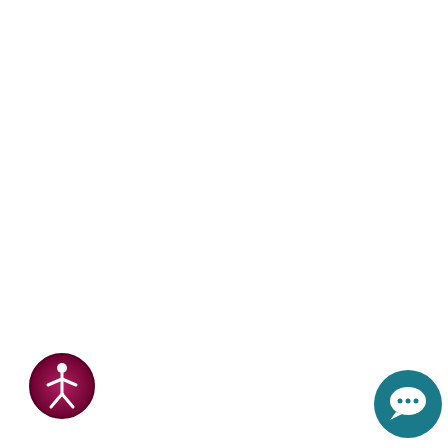challenging than becoming one. After passing classes, the exam, and getting lic...
READ MORE
Pros and Cons of New Construction Homes: What to Know Before Building
Wednesday, July 27th, 2022 9:40am
Buying a home
[Figure (other): Accessibility icon - circular badge with purple/crimson gradient border showing a human figure symbol]
[Figure (other): Chat/support icon - dark teal circle with speech bubble symbol]